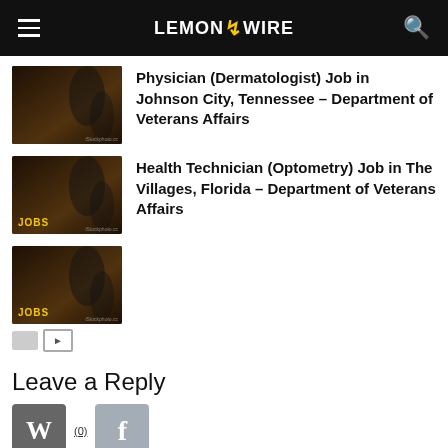LEMON ZZ WIRE
Physician (Dermatologist) Job in Johnson City, Tennessee – Department of Veterans Affairs
Health Technician (Optometry) Job in The Villages, Florida – Department of Veterans Affairs
Leave a Reply
(0)
Leave a Reply